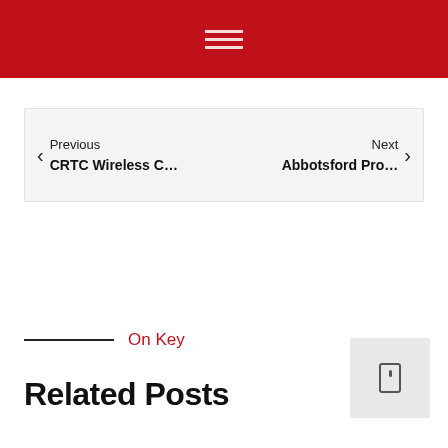Previous
CRTC Wireless C…
Next
Abbotsford Pro…
On Key
Related Posts